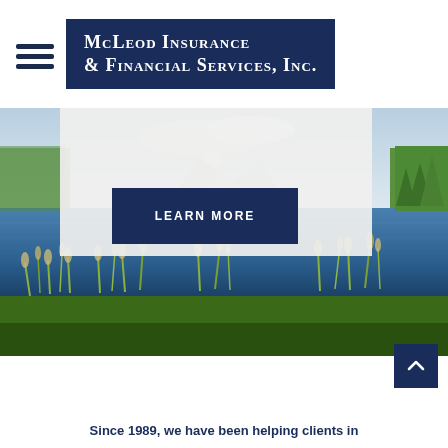McLeod Insurance & Financial Services, Inc.
[Figure (photo): Landscape photo of a calm reflective lake with mountains, blue sky reflected in water, green reeds and grass in foreground, trees in background]
LEARN MORE
Since 1989, we have been helping clients in